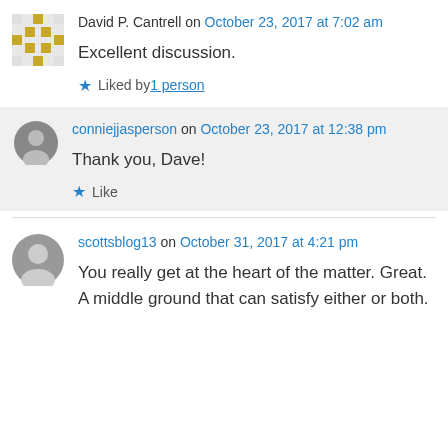David P. Cantrell on October 23, 2017 at 7:02 am
Excellent discussion.
★ Liked by 1 person
conniejjasperson on October 23, 2017 at 12:38 pm
Thank you, Dave!
★ Like
scottsblog13 on October 31, 2017 at 4:21 pm
You really get at the heart of the matter. Great. A middle ground that can satisfy either or both.